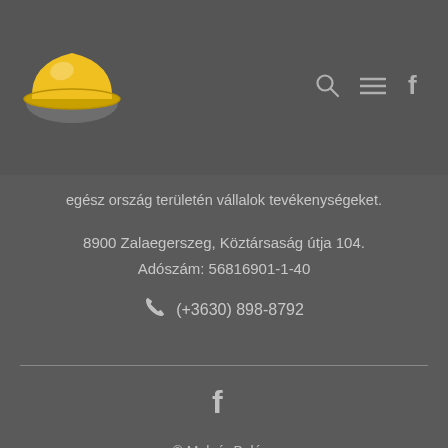[Figure (logo): Yellow construction hard hat logo in the header navigation bar]
Navigation icons: search, menu, facebook
egész ország területén vállalok tevékenységeket.
8900 Zalaegerszeg, Köztársaság útja 104.
Adószám: 56816901-1-40
(+3630) 898-8792
[Figure (logo): Facebook icon in footer]
© Molnár Balázs
Adatvédelmi tájékoztató